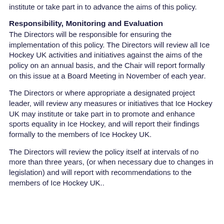institute or take part in to advance the aims of this policy.
Responsibility, Monitoring and Evaluation
The Directors will be responsible for ensuring the implementation of this policy. The Directors will review all Ice Hockey UK activities and initiatives against the aims of the policy on an annual basis, and the Chair will report formally on this issue at a Board Meeting in November of each year.
The Directors or where appropriate a designated project leader, will review any measures or initiatives that Ice Hockey UK may institute or take part in to promote and enhance sports equality in Ice Hockey, and will report their findings formally to the members of Ice Hockey UK.
The Directors will review the policy itself at intervals of no more than three years, (or when necessary due to changes in legislation) and will report with recommendations to the members of Ice Hockey UK..